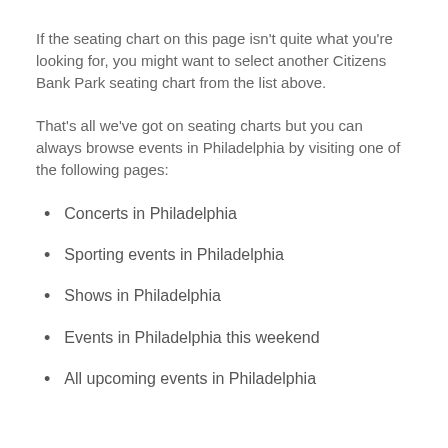If the seating chart on this page isn't quite what you're looking for, you might want to select another Citizens Bank Park seating chart from the list above.
That's all we've got on seating charts but you can always browse events in Philadelphia by visiting one of the following pages:
Concerts in Philadelphia
Sporting events in Philadelphia
Shows in Philadelphia
Events in Philadelphia this weekend
All upcoming events in Philadelphia